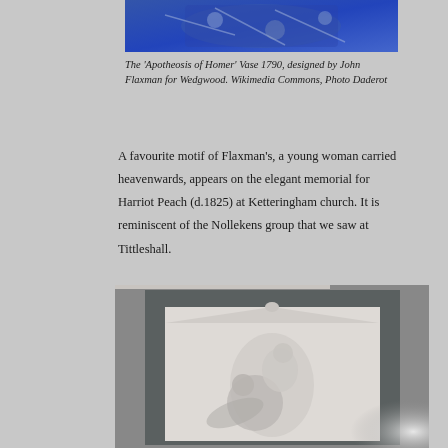[Figure (photo): Partial view of the 'Apotheosis of Homer' Vase 1790, designed by John Flaxman for Wedgwood, showing the blue decorative top portion of the vase]
The 'Apotheosis of Homer' Vase 1790, designed by John Flaxman for Wedgwood. Wikimedia Commons, Photo Daderot
A favourite motif of Flaxman's, a young woman carried heavenwards, appears on the elegant memorial for Harriot Peach (d.1825) at Ketteringham church. It is reminiscent of the Nollekens group that we saw at Tittleshall.
[Figure (photo): A classical memorial sculpture showing a young woman carried heavenwards, set within a stone frame with a triangular pediment top, at Ketteringham church]